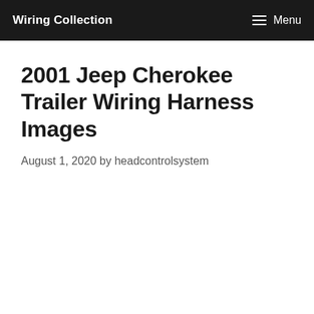Wiring Collection   Menu
2001 Jeep Cherokee Trailer Wiring Harness Images
August 1, 2020 by headcontrolsystem